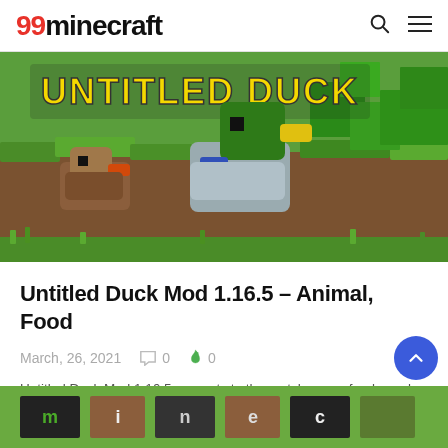99minecraft
[Figure (screenshot): Untitled Duck Mod Minecraft screenshot showing ducks in a blocky grass-and-dirt landscape with yellow bold title text 'UNTITLED DUCK' at top]
Untitled Duck Mod 1.16.5 – Animal, Food
March, 26, 2021   0   0
Untitled Duck Mod 1.16.5 presents to the match a new food supply, " The Duck. The...
[Figure (screenshot): Partial screenshot of another Minecraft mod page at the bottom of the page]